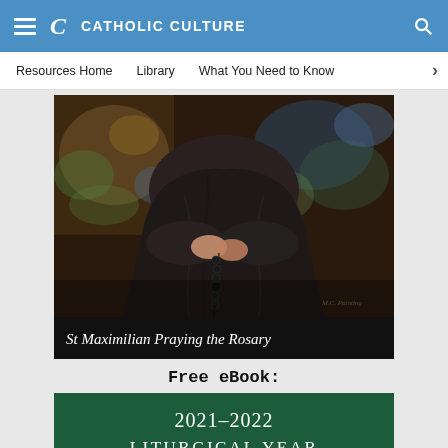CATHOLIC CULTURE
Resources Home   Library   What You Need to Know
[Figure (photo): Painting of St Maximilian Kolbe kneeling in a dark robe holding a rosary, with colorful impressionist background. Caption reads: St Maximilian Praying the Rosary]
St Maximilian Praying the Rosary
Free eBook:
[Figure (other): Dark green book cover for '2021-2022 Liturgical Year' eBook]
2021–2022 LITURGICAL YEAR